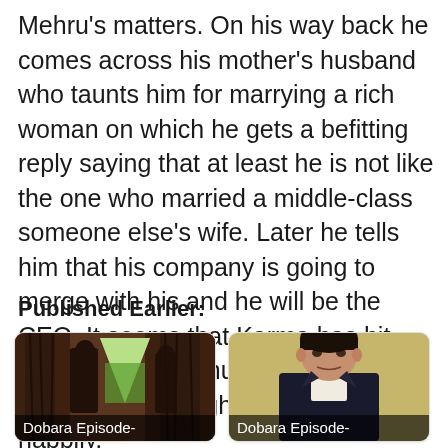Mehru's matters. On his way back he comes across his mother's husband who taunts him for marrying a rich woman on which he gets a befitting reply saying that at least he is not like the one who married a middle-class someone else's wife. Later he tells him that his company is going to merge with his and he will be the CEO. It seems that Karma has hit Mahir's mother's husband but he is opportunist enough to accept Mahir happily.
Published Earlier:
[Figure (photo): TV drama still showing two people near curtains with light coming through, with caption 'Dobara Episode-']
[Figure (photo): TV drama still showing a young man in a dark suit looking pensive, with caption 'Dobara Episode-']